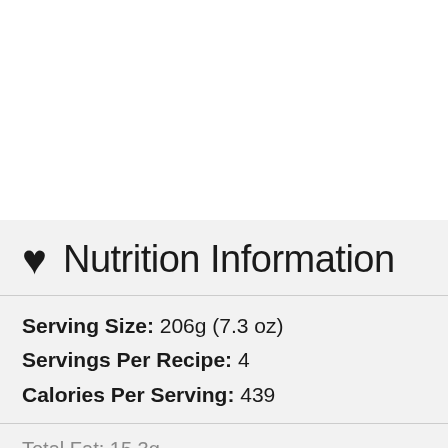♥ Nutrition Information
Serving Size: 206g (7.3 oz)
Servings Per Recipe: 4
Calories Per Serving: 439
Total Fat: 15.3g
  Saturated Fat: 4.5g